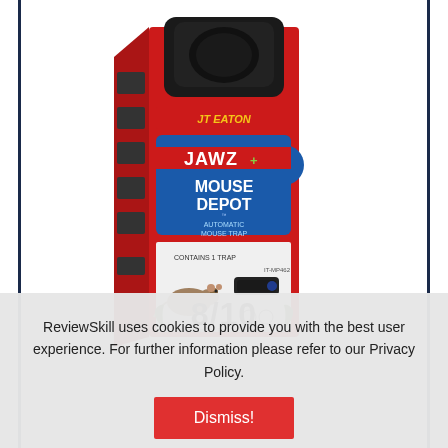[Figure (photo): Product photo of JT Eaton JAWZ Mouse Depot automatic mouse trap in red and blue packaging. The box shows the black trap device prominently, with images of the trap on the side panels, a mouse illustration at the bottom, and the brand name JT EATON with JAWZ Mouse Depot text.]
8/10
ReviewSkill uses cookies to provide you with the best user experience. For further information please refer to our Privacy Policy.
Dismiss!